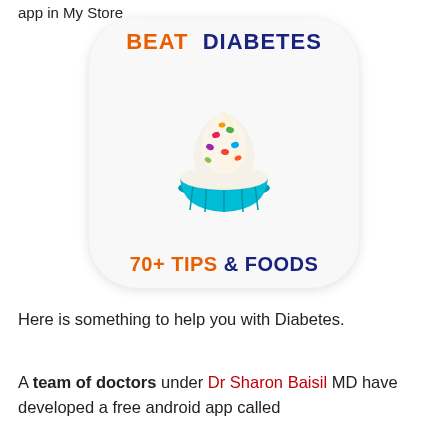app in My Store
[Figure (illustration): App icon for 'Beat Diabetes' app showing a cupcake with colorful sprinkles in a blue wrapper, with text 'BEAT DIABETES' at top and '70+ TIPS & FOODS' at bottom, rounded square icon with white background]
Here is something to help you with Diabetes.
A team of doctors under Dr Sharon Baisil MD have developed a free android app called